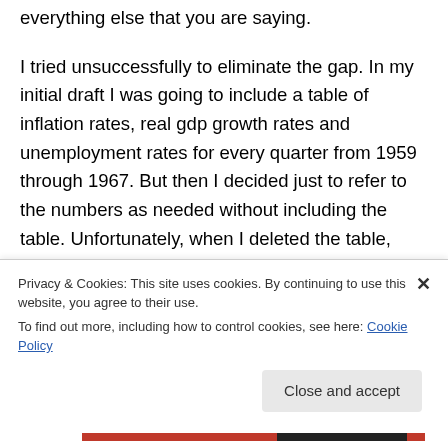everything else that you are saying.
I tried unsuccessfully to eliminate the gap. In my initial draft I was going to include a table of inflation rates, real gdp growth rates and unemployment rates for every quarter from 1959 through 1967. But then I decided just to refer to the numbers as needed without including the table. Unfortunately, when I deleted the table, only the numbers disappeared but the space originally occupied remained blank.
Privacy & Cookies: This site uses cookies. By continuing to use this website, you agree to their use.
To find out more, including how to control cookies, see here: Cookie Policy